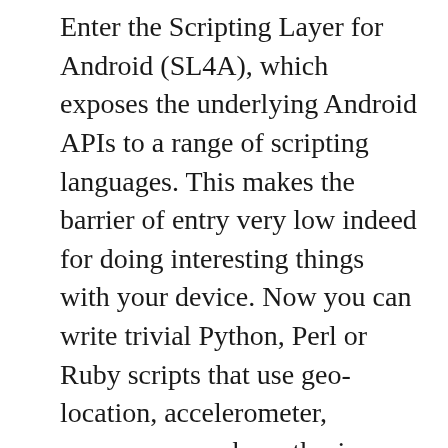Enter the Scripting Layer for Android (SL4A), which exposes the underlying Android APIs to a range of scripting languages. This makes the barrier of entry very low indeed for doing interesting things with your device. Now you can write trivial Python, Perl or Ruby scripts that use geo-location, accelerometer, compass, speech synthesis, speech recognition, scan barcodes with the camera, and interact with the Internet. Here's a video demoing some simple Python scripting on the phone itself: